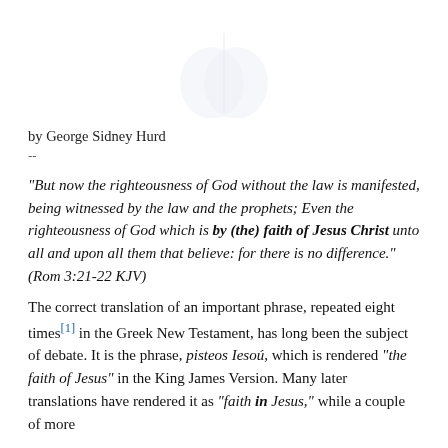[Figure (illustration): Faint watermark-style decorative image at top of page]
by George Sidney Hurd
--
“But now the righteousness of God without the law is manifested, being witnessed by the law and the prophets; Even the righteousness of God which is by (the) faith of Jesus Christ unto all and upon all them that believe: for there is no difference.”
(Rom 3:21-22 KJV)
The correct translation of an important phrase, repeated eight times[1] in the Greek New Testament, has long been the subject of debate. It is the phrase, pistеos Iesōú, which is rendered “the faith of Jesus” in the King James Version. Many later translations have rendered it as “faith in Jesus,” while a couple of more